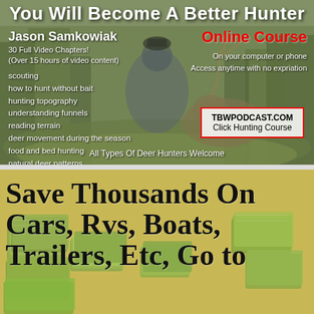You Will Become A Better Hunter
Jason Samkowiak
30 Full Video Chapters!
(Over 15 hours of video content)
Online Course
On your computer or phone
Access anytime with no expriation
scouting
how to hunt without bait
hunting topography
understanding funnels
reading terrain
deer movement during the season
food and bed hunting
natural deer patterns
dealing with pressure
public and private lands
and much more
TBWPODCAST.COM
Click Hunting Course
All Types Of Deer Hunters Welcome
[Figure (photo): Background photo of hunter with harvested deer in wooded outdoor setting with stacked cash bundles in lower section]
Save Thousands On Cars, Rvs, Boats, Trailers, Etc, Go to